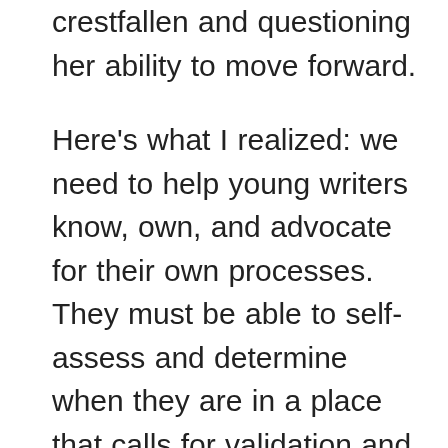crestfallen and questioning her ability to move forward.
Here's what I realized: we need to help young writers know, own, and advocate for their own processes. They must be able to self-assess and determine when they are in a place that calls for validation and when they are in a place that calls for criteria-based feedback. They also need to know how to ask for these things clearly and how to arm those they approach with methods and tools that achieve this. As a teacher of writing, I've learned that I  need to help young writers understand and then advocate for themselves not only within